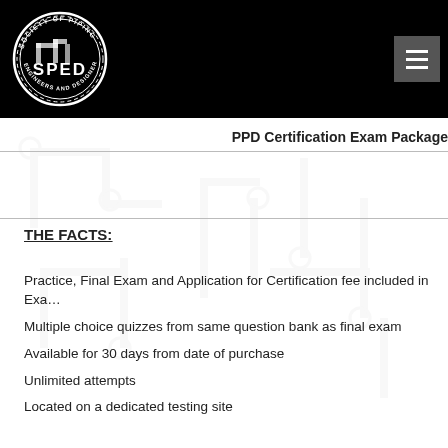[Figure (logo): SPED Society of Piping Engineers and Designers circular logo in white on black background]
PPD Certification Exam Package
THE FACTS:
Practice, Final Exam and Application for Certification fee included in Exam Package
Multiple choice quizzes from same question bank as final exam
Available for 30 days from date of purchase
Unlimited attempts
Located on a dedicated testing site